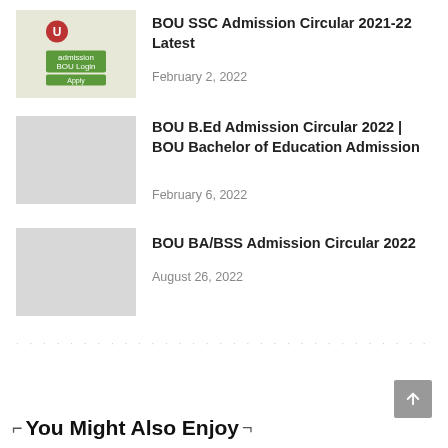[Figure (photo): Thumbnail image for BOU SSC Admission Circular article, showing a document with BOU logo and green text bar]
BOU SSC Admission Circular 2021-22 Latest
February 2, 2022
[Figure (photo): Gray placeholder thumbnail for BOU B.Ed Admission article]
BOU B.Ed Admission Circular 2022 | BOU Bachelor of Education Admission
February 6, 2022
[Figure (photo): Gray placeholder thumbnail for BOU BA/BSS Admission article]
BOU BA/BSS Admission Circular 2022
August 26, 2022
You Might Also Enjoy